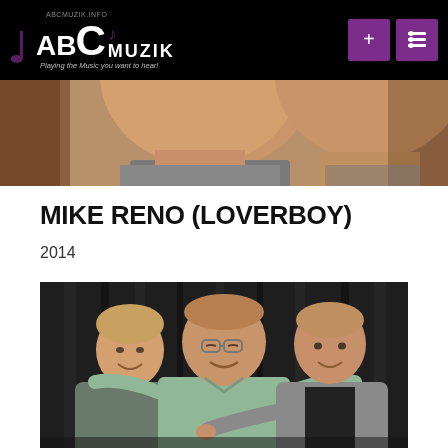ABCMUZIK.INFO — ABCMuzik — Playing the Music you want to hear!
[Figure (photo): Partial view of two people's faces cropped at top, background appears to be an indoor setting]
MIKE RENO (LOVERBOY)
2014
[Figure (photo): Three men standing together posing for a photo; the two on the sides are pointing at the man in the middle who is wearing a light green polo shirt; dark curtain background]